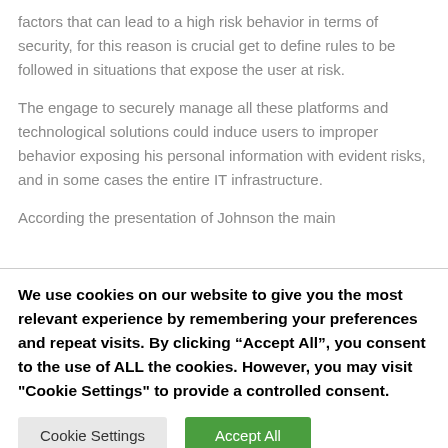factors that can lead to a high risk behavior in terms of security, for this reason is crucial get to define rules to be followed in situations that expose the user at risk.
The engage to securely manage all these platforms and technological solutions could induce users to improper behavior exposing his personal information with evident risks, and in some cases the entire IT infrastructure.
According the presentation of Johnson the main
We use cookies on our website to give you the most relevant experience by remembering your preferences and repeat visits. By clicking “Accept All”, you consent to the use of ALL the cookies. However, you may visit "Cookie Settings" to provide a controlled consent.